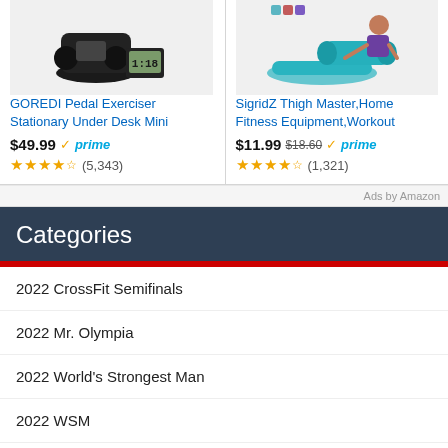[Figure (screenshot): Amazon ad: GOREDI Pedal Exerciser Stationary Under Desk Mini product image]
[Figure (screenshot): Amazon ad: SigridZ Thigh Master Home Fitness Equipment Workout product image]
GOREDI Pedal Exerciser Stationary Under Desk Mini
$49.99 prime (5,343)
SigridZ Thigh Master,Home Fitness Equipment,Workout
$11.99 $18.60 prime (1,321)
Ads by Amazon
Categories
2022 CrossFit Semifinals
2022 Mr. Olympia
2022 World's Strongest Man
2022 WSM
2024 Paris Olympics